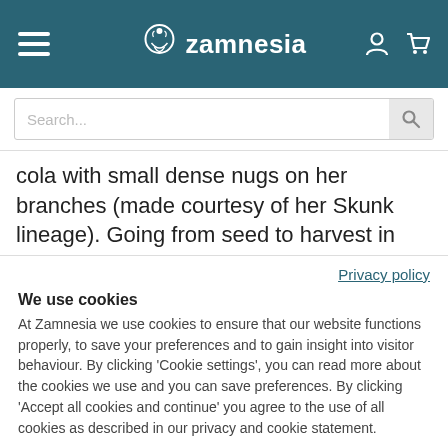Zamnesia
cola with small dense nugs on her branches (made courtesy of her Skunk lineage). Going from seed to harvest in just 70 days, UK Cheese Auto grows steadily and with effortless
Privacy policy
We use cookies
At Zamnesia we use cookies to ensure that our website functions properly, to save your preferences and to gain insight into visitor behaviour. By clicking 'Cookie settings', you can read more about the cookies we use and you can save preferences. By clicking 'Accept all cookies and continue' you agree to the use of all cookies as described in our privacy and cookie statement.
Accept all cookies and continue
Cookie settings